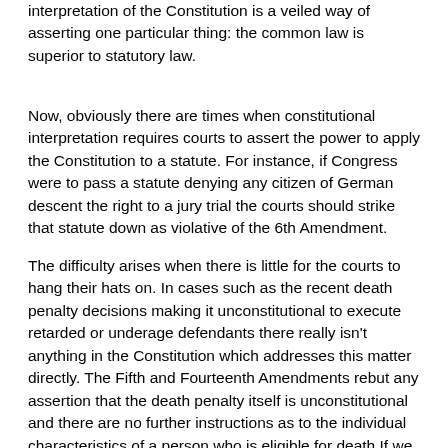interpretation of the Constitution is a veiled way of asserting one particular thing: the common law is superior to statutory law.
Now, obviously there are times when constitutional interpretation requires courts to assert the power to apply the Constitution to a statute. For instance, if Congress were to pass a statute denying any citizen of German descent the right to a jury trial the courts should strike that statute down as violative of the 6th Amendment.
The difficulty arises when there is little for the courts to hang their hats on. In cases such as the recent death penalty decisions making it unconstitutional to execute retarded or underage defendants there really isn't anything in the Constitution which addresses this matter directly. The Fifth and Fourteenth Amendments rebut any assertion that the death penalty itself is unconstitutional and there are no further instructions as to the individual characteristics of a person who is eligible for death.If we look to history we see over 200 years with the legislatures deciding this question. Nevertheless, the Court took it upon itself to find that such